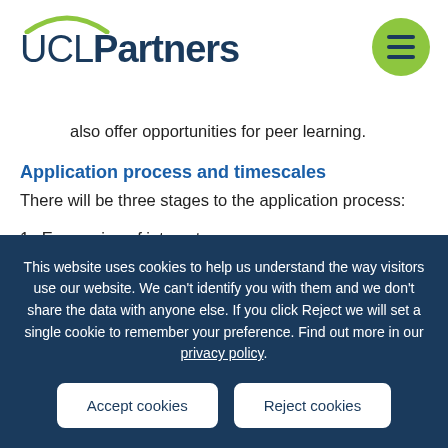[Figure (logo): UCLPartners logo with green arc above UCL text and bold Partners text in dark navy blue, with a green circular hamburger menu button in the top right]
also offer opportunities for peer learning.
Application process and timescales
There will be three stages to the application process:
1.  Expression of interest
This website uses cookies to help us understand the way visitors use our website. We can't identify you with them and we don't share the data with anyone else. If you click Reject we will set a single cookie to remember your preference. Find out more in our privacy policy.